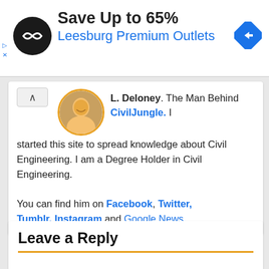[Figure (other): Advertisement banner: Save Up to 65% at Leesburg Premium Outlets]
L. Deloney. The Man Behind CivilJungle. I started this site to spread knowledge about Civil Engineering. I am a Degree Holder in Civil Engineering.

You can find him on Facebook, Twitter, Tumblr, Instagram and Google News.
Leave a Reply